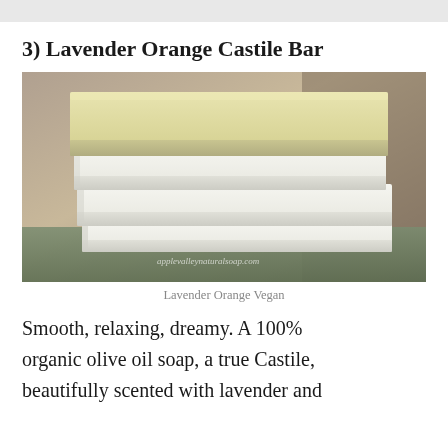3) Lavender Orange Castile Bar
[Figure (photo): Stack of white cream-colored rectangular soap bars on a textured green surface with a blurred wooden background. A watermark reads applevalleynaturalsoap.com.]
Lavender Orange Vegan
Smooth, relaxing, dreamy. A 100% organic olive oil soap, a true Castile, beautifully scented with lavender and